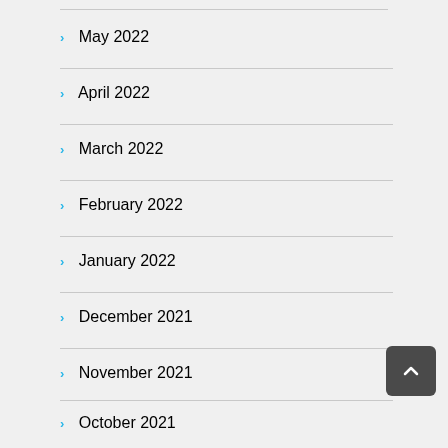May 2022
April 2022
March 2022
February 2022
January 2022
December 2021
November 2021
October 2021
September 2021